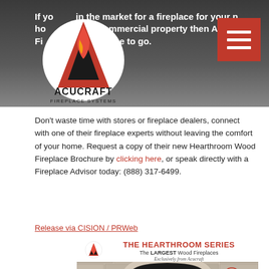If you are in the market for a fireplace for your new home, cabin or commercial property then Acucraft Fireplaces is the place to go.
[Figure (logo): Acucraft Fireplace Systems logo — red flame 'A' mark above text 'ACUCRAFT' and 'FIREPLACE SYSTEMS']
Don't waste time with stores or fireplace dealers, connect with one of their fireplace experts without leaving the comfort of your home. Request a copy of their new Hearthroom Wood Fireplace Brochure by clicking here, or speak directly with a Fireplace Advisor today: (888) 317-6499.
Release via CISION / PRWeb
[Figure (photo): The Hearthroom Series brochure cover showing a large wood fireplace set in stone masonry, with text 'THE HEARTHROOM SERIES — The LARGEST Wood Fireplaces — Exclusively from Acucraft' and LC certification mark]